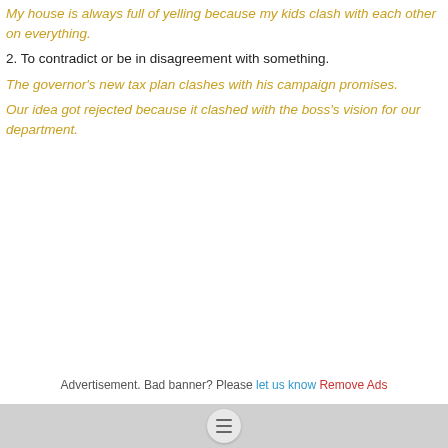My house is always full of yelling because my kids clash with each other on everything.
2. To contradict or be in disagreement with something.
The governor's new tax plan clashes with his campaign promises.
Our idea got rejected because it clashed with the boss's vision for our department.
Advertisement. Bad banner? Please let us know Remove Ads